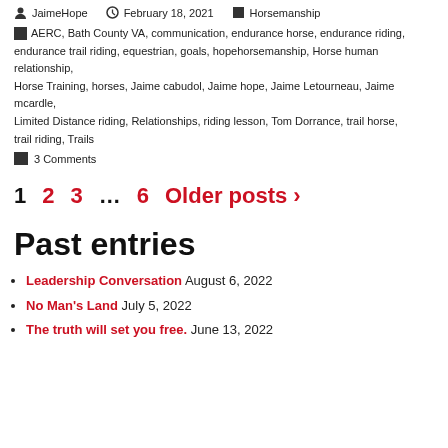JaimeHope  February 18, 2021  Horsemanship
AERC, Bath County VA, communication, endurance horse, endurance riding, endurance trail riding, equestrian, goals, hopehorsemanship, Horse human relationship, Horse Training, horses, Jaime cabudol, Jaime hope, Jaime Letourneau, Jaime mcardle, Limited Distance riding, Relationships, riding lesson, Tom Dorrance, trail horse, trail riding, Trails
3 Comments
1  2  3  …  6  Older posts >
Past entries
Leadership Conversation August 6, 2022
No Man's Land July 5, 2022
The truth will set you free. June 13, 2022